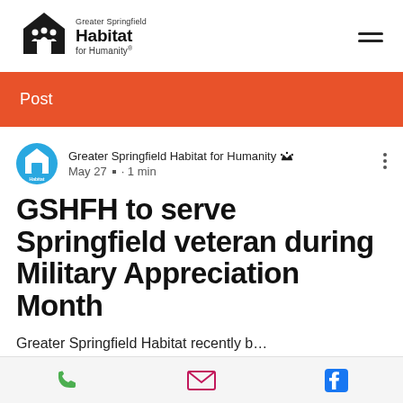Greater Springfield Habitat for Humanity
Post
Greater Springfield Habitat for Humanity · May 27 · 1 min
GSHFH to serve Springfield veteran during Military Appreciation Month
Greater Springfield Habitat recently b...
Phone · Email · Facebook